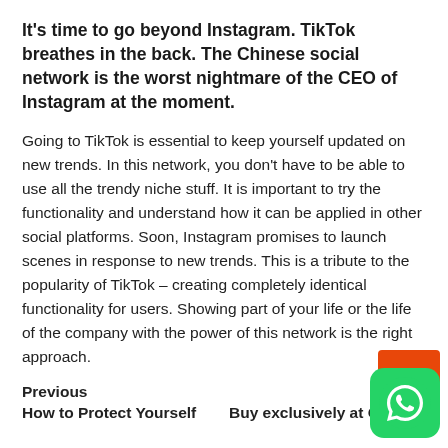It's time to go beyond Instagram. TikTok breathes in the back. The Chinese social network is the worst nightmare of the CEO of Instagram at the moment.
Going to TikTok is essential to keep yourself updated on new trends. In this network, you don't have to be able to use all the trendy niche stuff. It is important to try the functionality and understand how it can be applied in other social platforms. Soon, Instagram promises to launch scenes in response to new trends. This is a tribute to the popularity of TikTok – creating completely identical functionality for users. Showing part of your life or the life of the company with the power of this network is the right approach.
Previous
How to Protect Yourself
Buy exclusively at Citrus: